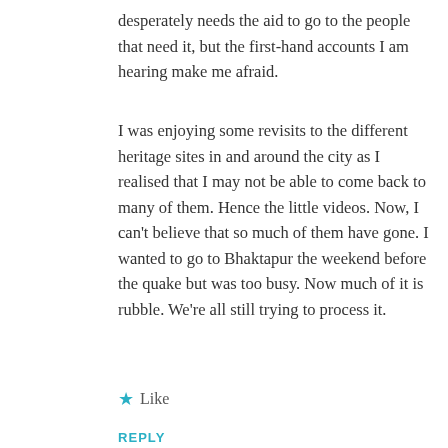desperately needs the aid to go to the people that need it, but the first-hand accounts I am hearing make me afraid.
I was enjoying some revisits to the different heritage sites in and around the city as I realised that I may not be able to come back to many of them. Hence the little videos. Now, I can't believe that so much of them have gone. I wanted to go to Bhaktapur the weekend before the quake but was too busy. Now much of it is rubble. We're all still trying to process it.
★ Like
REPLY